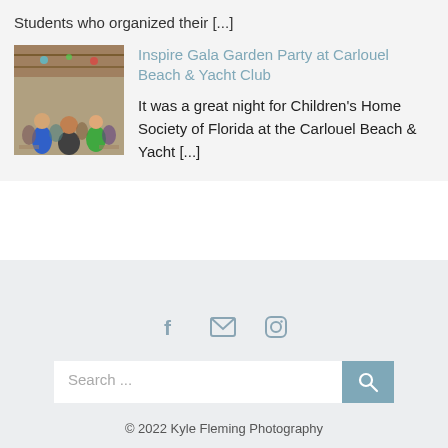students who organized their [...]
[Figure (photo): People gathered at an indoor event, gala party scene with colorful decorations]
Inspire Gala Garden Party at Carlouel Beach & Yacht Club
It was a great night for Children's Home Society of Florida at the Carlouel Beach & Yacht [...]
© 2022 Kyle Fleming Photography